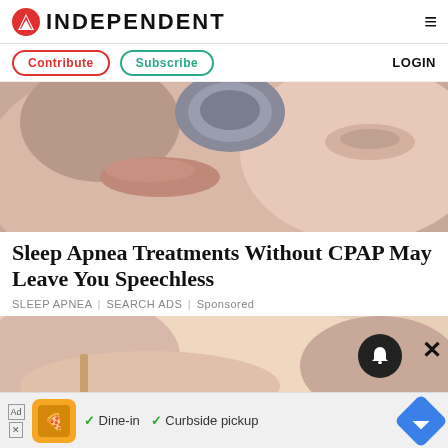INDEPENDENT
Contribute  Subscribe  LOGIN
[Figure (photo): Close-up of a person's face with a CPAP mask device near the mouth, eyes closed, skin detail visible]
Sleep Apnea Treatments Without CPAP May Leave You Speechless
SLEEP APNEA | SEARCH ADS | Sponsored
[Figure (photo): Close-up photo of a person's shoulder/neck area, partial view, light skin tone, soft lighting]
Dine-in  Curbside pickup